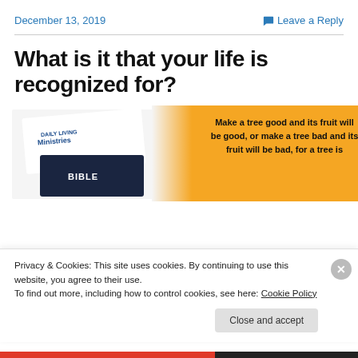December 13, 2019   Leave a Reply
What is it that your life is recognized for?
[Figure (illustration): Daily Living Ministries banner image with a Bible and text: Make a tree good and its fruit will be good, or make a tree bad and its fruit will be bad, for a tree is]
Privacy & Cookies: This site uses cookies. By continuing to use this website, you agree to their use.
To find out more, including how to control cookies, see here: Cookie Policy
Close and accept